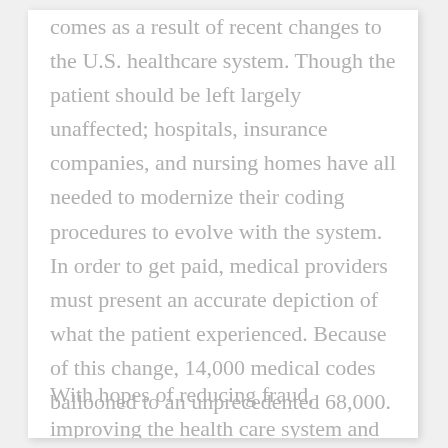comes as a result of recent changes to the U.S. healthcare system. Though the patient should be left largely unaffected; hospitals, insurance companies, and nursing homes have all needed to modernize their coding procedures to evolve with the system. In order to get paid, medical providers must present an accurate depiction of what the patient experienced. Because of this change, 14,000 medical codes ballooned to an unprecedented 68,000.
With hopes of reducing fraud, improving the health care system and